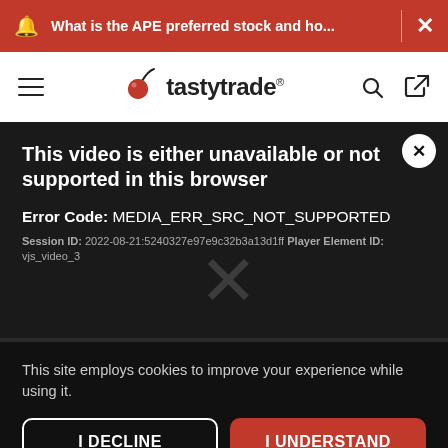What is the APE preferred stock and ho... ×
[Figure (logo): tastytrade logo with cherry icon, hamburger menu, search and login icons]
This video is either unavailable or not supported in this browser
Error Code: MEDIA_ERR_SRC_NOT_SUPPORTED
Session ID: 2022-08-21:5240327e97e9c32b3a13d1ff Player Element ID: vjs_video_3
This site employs cookies to improve your experience while using it.
I DECLINE
I UNDERSTAND